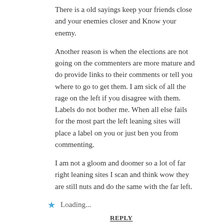There is a old sayings keep your friends close and your enemies closer and Know your enemy.
Another reason is when the elections are not going on the commenters are more mature and do provide links to their comments or tell you where to go to get them. I am sick of all the rage on the left if you disagree with them. Labels do not bother me. When all else fails for the most part the left leaning sites will place a label on you or just ben you from commenting.
I am not a gloom and doomer so a lot of far right leaning sites I scan and think wow they are still nuts and do the same with the far left.
Loading...
REPLY
kevinmackay said: November 18, 2016 6:09:11 at 6:09 AM
“have been banned from many when I disagreed with an author” I’ve written stupid things on this site and never been blocked. Another point in Mish’s libertarian favor – no cowardly censorship.